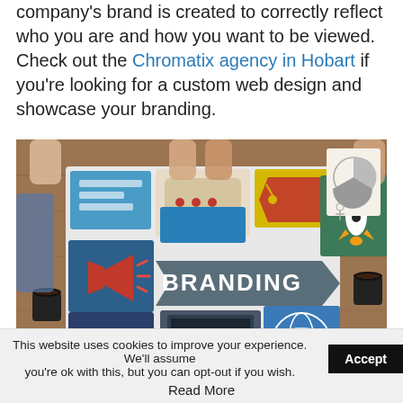company's brand is created to correctly reflect who you are and how you want to be viewed. Check out the Chromatix agency in Hobart if you're looking for a custom web design and showcase your branding.
[Figure (photo): Overhead photo of a table with people's hands around branding design materials including icons for messaging, price tag, rocket, megaphone, globe, laptop, and a central arrow sign reading BRANDING]
This website uses cookies to improve your experience. We'll assume you're ok with this, but you can opt-out if you wish. [Accept button] Read More